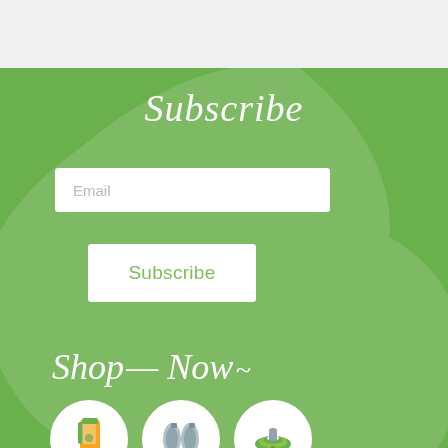Subscribe
Email
Subscribe
Shop Now
[Figure (illustration): Three circular icons showing green cleaning/household products on a green background]